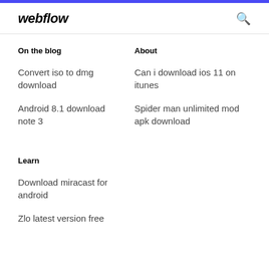webflow
On the blog
About
Convert iso to dmg download
Can i download ios 11 on itunes
Android 8.1 download note 3
Spider man unlimited mod apk download
Learn
Download miracast for android
Zlo latest version free